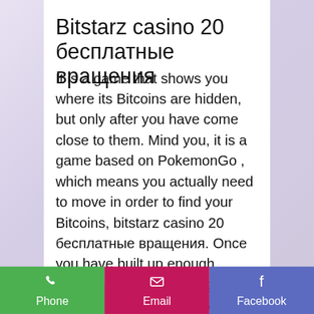Bitstarz casino 20 бесплатные вращения
It is a game that shows you where its Bitcoins are hidden, but only after you have come close to them. Mind you, it is a game based on PokemonGo , which means you actually need to move in order to find your Bitcoins, bitstarz casino 20 бесплатные вращения. Once you have built up enough Bitcoin, you can exchange it through a currency exchange system and convert your Bitcoin into US dollars. You can then use these dollars to purchase new graphics cards to improve your mining process!
Check out websites that do FOREX broker comparison to see which broker
Phone | Email | Facebook